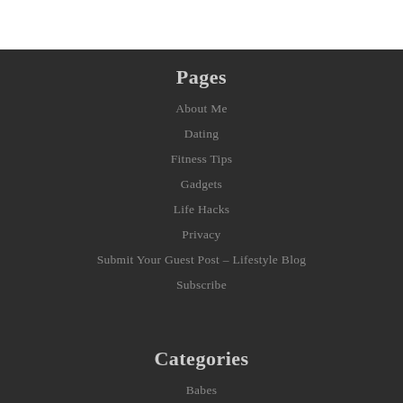Pages
About Me
Dating
Fitness Tips
Gadgets
Life Hacks
Privacy
Submit Your Guest Post – Lifestyle Blog
Subscribe
Categories
Babes